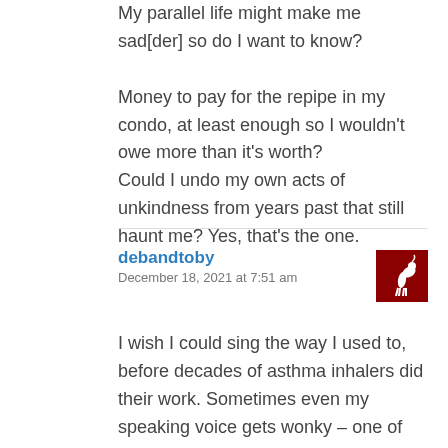My parallel life might make me sad[der] so do I want to know?
Money to pay for the repipe in my condo, at least enough so I wouldn't owe more than it's worth?
Could I undo my own acts of unkindness from years past that still haunt me? Yes, that's the one.
debandtoby
December 18, 2021 at 7:51 am
[Figure (illustration): Small avatar image with red background showing a white unicorn/horse figure]
I wish I could sing the way I used to, before decades of asthma inhalers did their work. Sometimes even my speaking voice gets wonky – one of my inhalers is known to cause vocal cord irritation, but it works, which a lot don't. I was a contralto, with a 2 octave range. Sometimes my voice comes back, and I sing until it